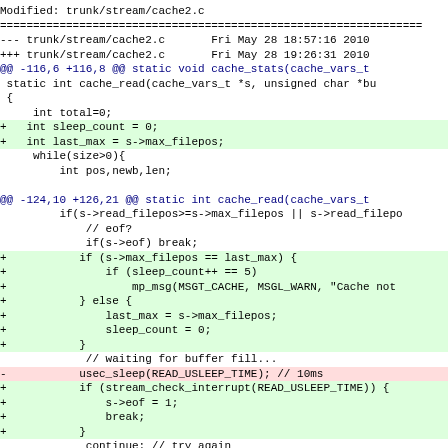Modified: trunk/stream/cache2.c
diff content showing changes to trunk/stream/cache2.c between Fri May 28 18:57:16 2010 and Fri May 28 19:26:31 2010